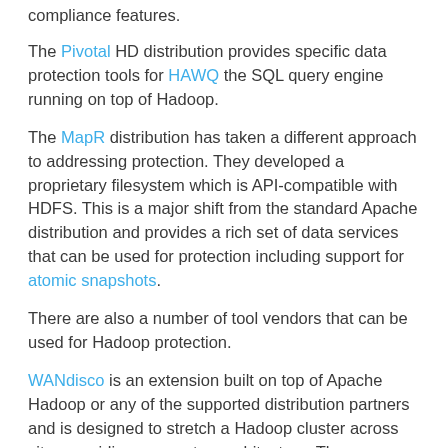compliance features.
The Pivotal HD distribution provides specific data protection tools for HAWQ the SQL query engine running on top of Hadoop.
The MapR distribution has taken a different approach to addressing protection. They developed a proprietary filesystem which is API-compatible with HDFS. This is a major shift from the standard Apache distribution and provides a rich set of data services that can be used for protection including support for atomic snapshots.
There are also a number of tool vendors that can be used for Hadoop protection.
WANdisco is an extension built on top of Apache Hadoop or any of the supported distribution partners and is designed to stretch a Hadoop cluster across sites providing a non-stop architecture. The WANdisco solution does not appear to address versioning which I consider a core requirement of a data protection solution.